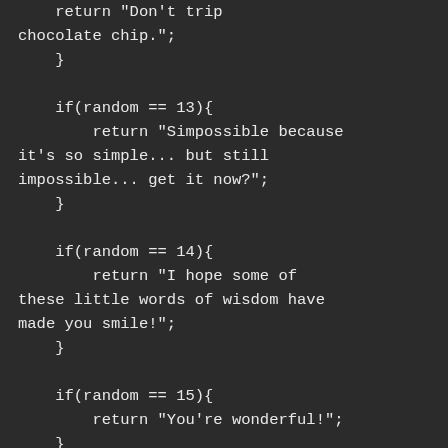return "Don't trip chocolate chip.";
    }

    if(random == 13){
        return "Simpossible because it's so simple... but still impossible... get it now?";
    }

    if(random == 14){
        return "I hope some of these little words of wisdom have made you smile!";
    }

    if(random == 15){
        return "You're wonderful!";
    }